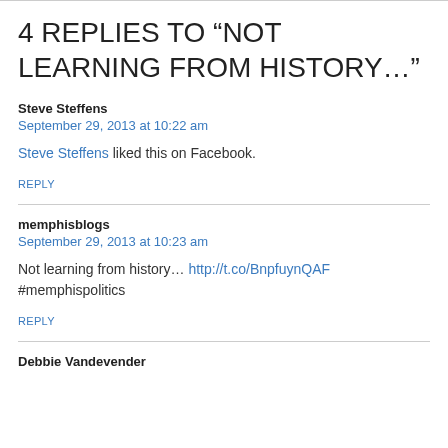4 REPLIES TO “NOT LEARNING FROM HISTORY…”
Steve Steffens
September 29, 2013 at 10:22 am
Steve Steffens liked this on Facebook.
REPLY
memphisblogs
September 29, 2013 at 10:23 am
Not learning from history… http://t.co/BnpfuynQAF #memphispolitics
REPLY
Debbie Vandevender